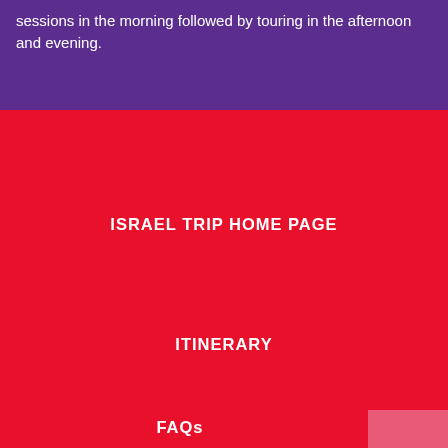sessions in the morning followed by touring in the afternoon and evening.
ISRAEL TRIP HOME PAGE
ITINERARY
FAQs